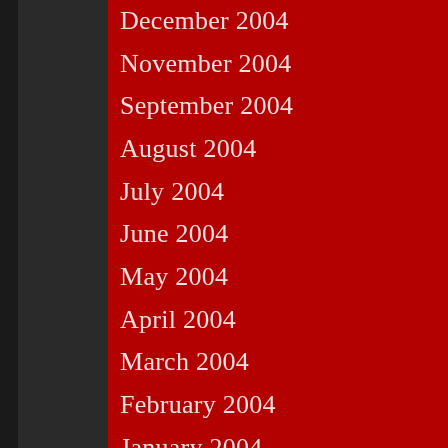December 2004
November 2004
September 2004
August 2004
July 2004
June 2004
May 2004
April 2004
March 2004
February 2004
January 2004
December 2003
November 2003